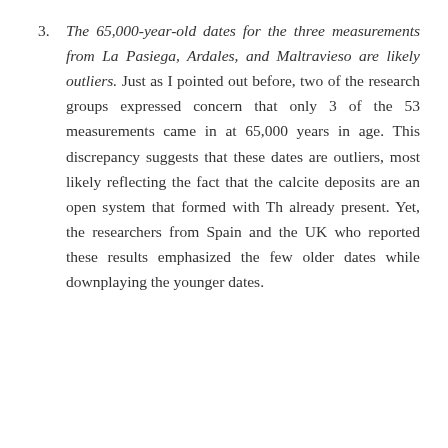3. The 65,000-year-old dates for the three measurements from La Pasiega, Ardales, and Maltravieso are likely outliers. Just as I pointed out before, two of the research groups expressed concern that only 3 of the 53 measurements came in at 65,000 years in age. This discrepancy suggests that these dates are outliers, most likely reflecting the fact that the calcite deposits are an open system that formed with Th already present. Yet, the researchers from Spain and the UK who reported these results emphasized the few older dates while downplaying the younger dates.